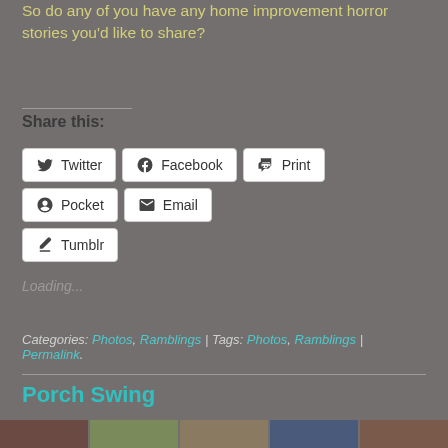So do any of you have any home improvement horror stories you'd like to share?
Share this:
Twitter | Facebook | Print | Pocket | Email | Tumblr
Loading...
Categories: Photos, Ramblings | Tags: Photos, Ramblings | Permalink.
Porch Swing
[Figure (photo): Photo strip thumbnails at bottom of page]